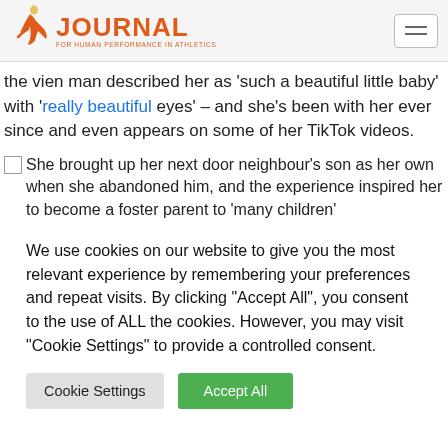JOURNAL FOR HUMAN PERFORMANCE IN ATHLETICS
the vien man described her as 'such a beautiful little baby' with 'really beautiful eyes' – and she's been with her ever since and even appears on some of her TikTok videos.
She brought up her next door neighbour's son as her own when she abandoned him, and the experience inspired her to become a foster parent to 'many children'
We use cookies on our website to give you the most relevant experience by remembering your preferences and repeat visits. By clicking "Accept All", you consent to the use of ALL the cookies. However, you may visit "Cookie Settings" to provide a controlled consent.
Cookie Settings | Accept All